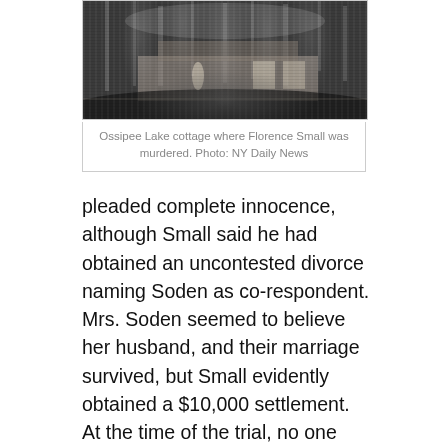[Figure (photo): Black and white photograph of the Ossipee Lake cottage where Florence Small was murdered, showing a wooden structure among trees.]
Ossipee Lake cottage where Florence Small was murdered. Photo: NY Daily News
pleaded complete innocence, although Small said he had obtained an uncontested divorce naming Soden as co-respondent. Mrs. Soden seemed to believe her husband, and their marriage survived, but Small evidently obtained a $10,000 settlement. At the time of the trial, no one knew where Laura Small was, but despite testifying that he was divorced Small continued to describe himself as married more than a year later.